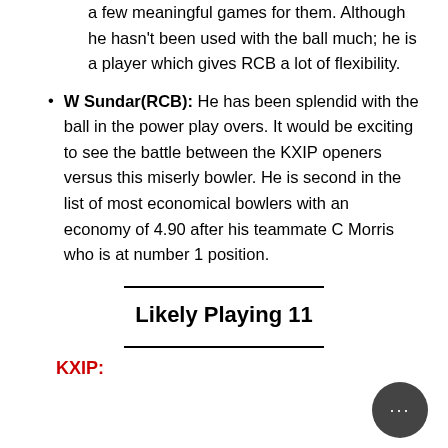a few meaningful games for them. Although he hasn't been used with the ball much; he is a player which gives RCB a lot of flexibility.
W Sundar(RCB): He has been splendid with the ball in the power play overs. It would be exciting to see the battle between the KXIP openers versus this miserly bowler. He is second in the list of most economical bowlers with an economy of 4.90 after his teammate C Morris who is at number 1 position.
Likely Playing 11
KXIP: